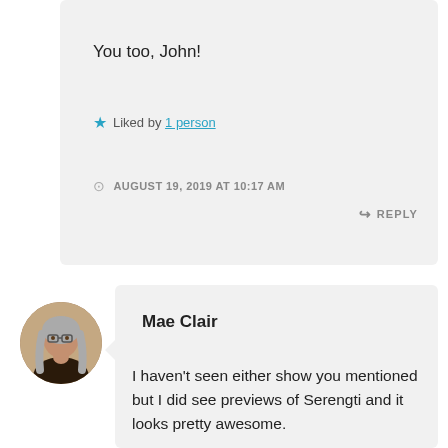You too, John!
★ Liked by 1 person
AUGUST 19, 2019 AT 10:17 AM
↪ REPLY
[Figure (photo): Circular avatar photo of Mae Clair, a woman with long gray hair and glasses]
Mae Clair
I haven't seen either show you mentioned but I did see previews of Serengti and it looks pretty awesome.